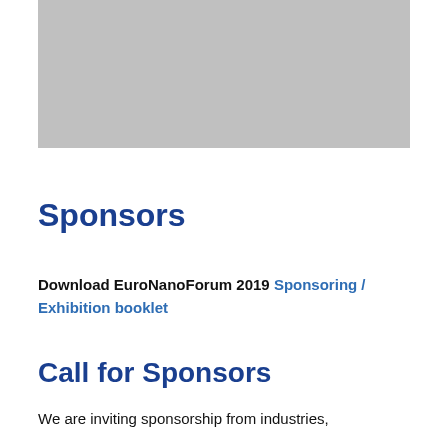[Figure (photo): Gray placeholder image representing a photo or banner at the top of the page]
Sponsors
Download EuroNanoForum 2019 Sponsoring / Exhibition booklet
Call for Sponsors
We are inviting sponsorship from industries,